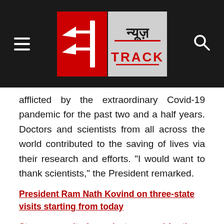[Figure (logo): News Track logo with Hindi text न्यूज़ and TRACK on red/grey background, hamburger menu icon on left, search icon on right]
afflicted by the extraordinary Covid-19 pandemic for the past two and a half years. Doctors and scientists from all across the world contributed to the saving of lives via their research and efforts. "I would want to thank scientists," the President remarked.
President Ram Nath Kovind on three-state visits starting from today
Strong security from sky to ground for the President, will see Baba Mahakal tomorrow
PM Modi opens the Matushri KDP Multispecialty Hospital in Rajkot, Gujarat